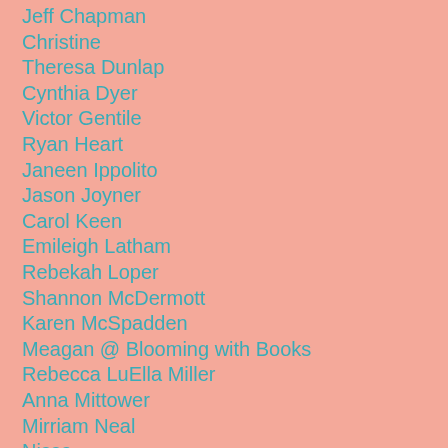Jeff Chapman
Christine
Theresa Dunlap
Cynthia Dyer
Victor Gentile
Ryan Heart
Janeen Ippolito
Jason Joyner
Carol Keen
Emileigh Latham
Rebekah Loper
Shannon McDermott
Karen McSpadden
Meagan @ Blooming with Books
Rebecca LuElla Miller
Anna Mittower
Mirriam Neal
Nissa
Faye Oygard
Nathan Reimer
Chawna Schroeder
Kathleen Smith